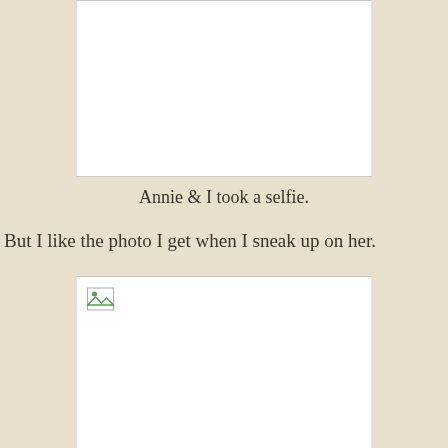[Figure (photo): A white blank photo placeholder box (top, no image loaded)]
Annie & I took a selfie.
But I like the photo I get when I sneak up on her.
[Figure (photo): A white blank photo placeholder box with broken image icon in top-left corner]